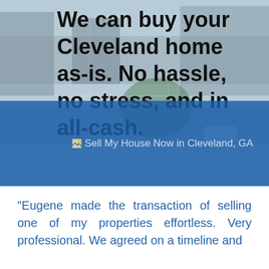We can buy your Cleveland home as-is. No hassle, no stress, and in all-cash.
[Figure (photo): Aerial view of a residential street in Cleveland, GA with a blue overlay banner containing an image placeholder labeled 'Sell My House Now in Cleveland, GA']
"Eugene made the transaction of selling one of my properties effortless. Very professional. We agreed on a timeline and